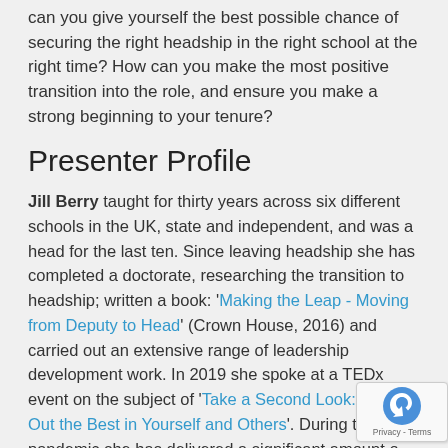Structured reflection. What are your next steps? How can you give yourself the best possible chance of securing the right headship in the right school at the right time? How can you make the most positive transition into the role, and ensure you make a strong beginning to your tenure?
Presenter Profile
Jill Berry taught for thirty years across six different schools in the UK, state and independent, and was a head for the last ten. Since leaving headship she has completed a doctorate, researching the transition to headship; written a book: 'Making the Leap - Moving from Deputy to Head' (Crown House, 2016) and carried out an extensive range of leadership development work. In 2019 she spoke at a TEDx event on the subject of 'Take a Second Look: Bring Out the Best in Yourself and Others'. During the pandemic she has delivered a significant amount of